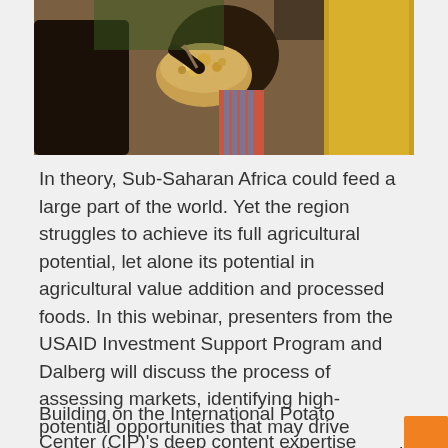[Figure (photo): A person eating from a bowl of food, with another person visible in the background. Appears to be set in Sub-Saharan Africa context.]
In theory, Sub-Saharan Africa could feed a large part of the world. Yet the region struggles to achieve its full agricultural potential, let alone its potential in agricultural value addition and processed foods. In this webinar, presenters from the USAID Investment Support Program and Dalberg will discuss the process of assessing markets, identifying high-potential opportunities that may drive economic growth and competitiveness, and what they found when conducting those analyses.
Building on the International Potato Center (CIP)'s deep content expertise on sweet